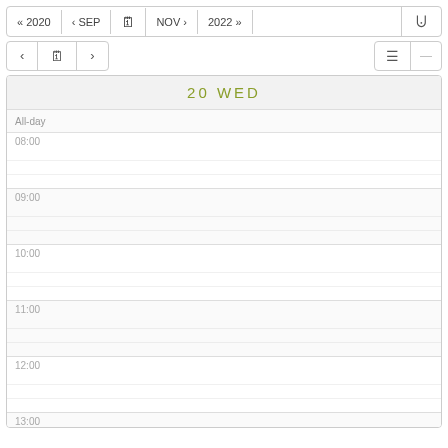« 2020  ‹ SEP  [calendar]  NOV ›  2022 »  [RSS]
‹  [calendar]  ›  [list icon] —
20 WED
All-day
08:00
09:00
10:00
11:00
12:00
13:00